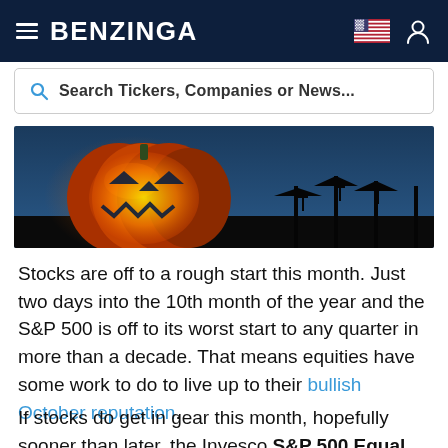BENZINGA
Search Tickers, Companies or News...
[Figure (photo): Halloween jack-o-lantern pumpkin glowing orange against a dark blue night sky with silhouettes of bare trees and crosses in the background]
Stocks are off to a rough start this month. Just two days into the 10th month of the year and the S&P 500 is off to its worst start to any quarter in more than a decade. That means equities have some work to do to live up to their bullish October reputation.
If stocks do get in gear this month, hopefully sooner than later, the Invesco S&P 500 Equal Weight ETF